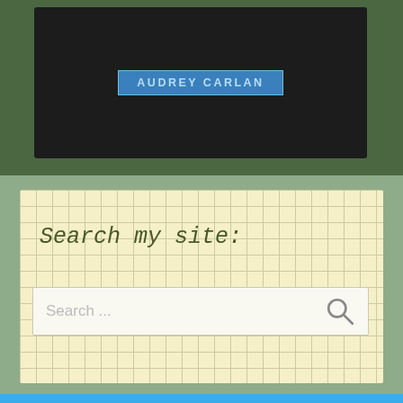[Figure (screenshot): Dark-framed book cover widget showing author name 'AUDREY CARLAN' on a blue label against black background, within dark green banner area]
Search my site:
[Figure (screenshot): Search input box with placeholder text 'Search ...' and a magnifying glass icon on the right, on a grid-patterned yellow background]
My Recent Postings: